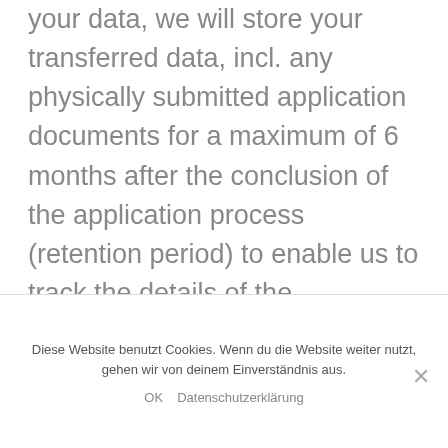your data, we will store your transferred data, incl. any physically submitted application documents for a maximum of 6 months after the conclusion of the application process (retention period) to enable us to track the details of the application process in the event of disparities (Art. 6 Sect. 1 lit. f GDPR).
YOU HAVE THE OPTION TO OBJECT TO THIS STORAGE/RETENTION OF YOUR DATA IF YOU
Diese Website benutzt Cookies. Wenn du die Website weiter nutzt, gehen wir von deinem Einverständnis aus.
OK   Datenschutzerklärung